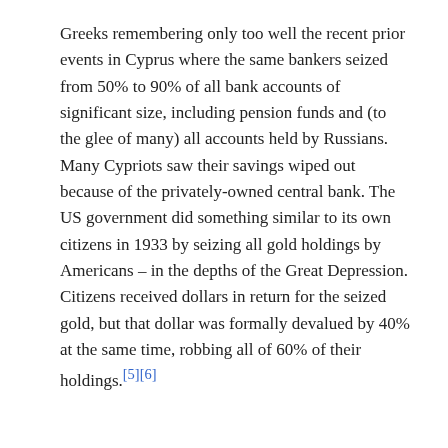Greeks remembering only too well the recent prior events in Cyprus where the same bankers seized from 50% to 90% of all bank accounts of significant size, including pension funds and (to the glee of many) all accounts held by Russians. Many Cypriots saw their savings wiped out because of the privately-owned central bank. The US government did something similar to its own citizens in 1933 by seizing all gold holdings by Americans – in the depths of the Great Depression. Citizens received dollars in return for the seized gold, but that dollar was formally devalued by 40% at the same time, robbing all of 60% of their holdings.[5][6]
Greece has virtually ceased to exist as a sovereign nation, and there are many others similar, including Cyprus, Haiti, Somalia, Iraq, Libya, the Balkans, Panama, Nicaragua. This is not news. To quote William Blum:
"Every year the American military intervenes in or...